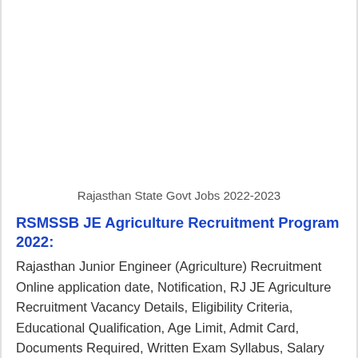Rajasthan State Govt Jobs 2022-2023
RSMSSB JE Agriculture Recruitment Program 2022:
Rajasthan Junior Engineer (Agriculture) Recruitment Online application date, Notification, RJ JE Agriculture Recruitment Vacancy Details, Eligibility Criteria, Educational Qualification, Age Limit, Admit Card, Documents Required, Written Exam Syllabus, Salary Details, Selection Process, Exam fee, Recruitment Schedule, how to apply?. More details about Rajasthan